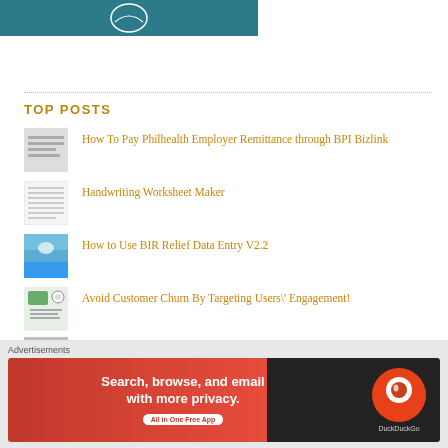[Figure (photo): Partial view of a dark teal/blue image with a white graphic icon at top]
TOP POSTS
How To Pay Philhealth Employer Remittance through BPI Bizlink
Handwriting Worksheet Maker
How to Use BIR Relief Data Entry V2.2
Avoid Customer Churn By Targeting Users' Engagement!
[Figure (screenshot): Advertisement banner: DuckDuckGo - Search, browse, and email with more privacy. All in One Free App]
Advertisements